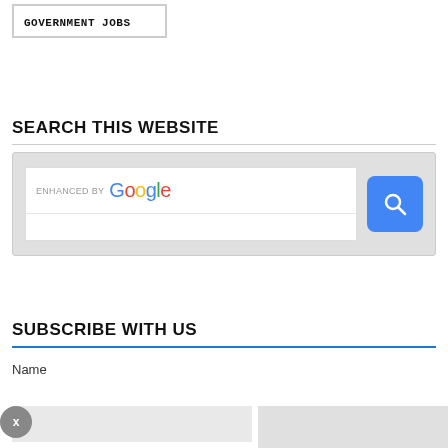GOVERNMENT JOBS
SEARCH THIS WEBSITE
[Figure (screenshot): Google enhanced search widget with search input box and blue search button]
SUBSCRIBE WITH US
Name